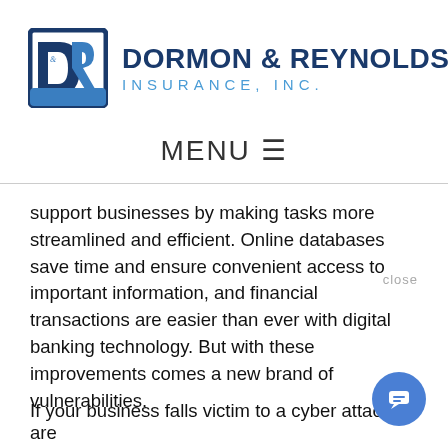[Figure (logo): Dormon & Reynolds Insurance Inc. logo with D&R emblem in blue and dark navy, followed by company name in bold navy and blue text]
MENU ☰
support businesses by making tasks more streamlined and efficient. Online databases save time and ensure convenient access to important information, and financial transactions are easier than ever with digital banking technology. But with these improvements comes a new brand of vulnerabilities.
If your business falls victim to a cyber attack, are